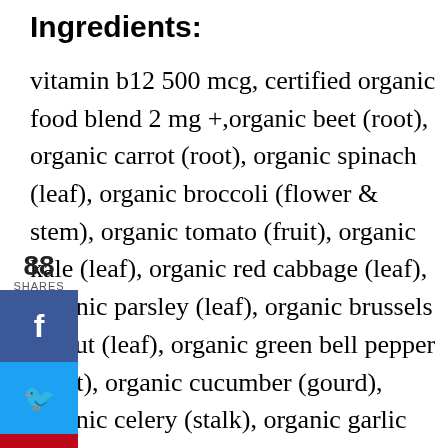Ingredients:
vitamin b12 500 mcg, certified organic food blend 2 mg +,organic beet (root), organic carrot (root), organic spinach (leaf), organic broccoli (flower & stem), organic tomato (fruit), organic kale (leaf), organic red cabbage (leaf), organic parsley (leaf), organic brussels sprout (leaf), organic green bell pepper (fruit), organic cucumber (gourd), organic celery (stalk), organic garlic (bulb), organic ginger (root), organic green onion (root), organic cauliflower (flower & stem), organic asparagus (flower and stem), organic strawberry (fruit), organic  cherry (fruit), organic blackberry (fruit),  organic blueberry